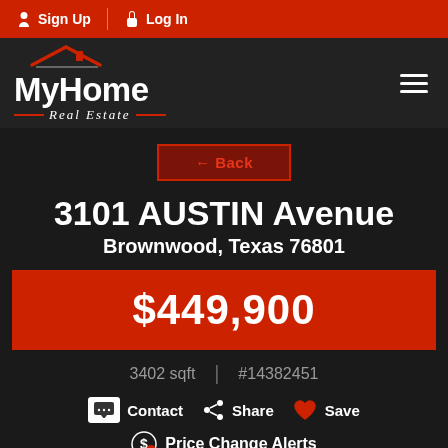Sign Up  Log In
[Figure (logo): MyHome Real Estate logo with house icon, red roof outline, white text]
← Back
3101 AUSTIN Avenue
Brownwood, Texas 76801
$449,900
3402 sqft  |  #14382451
Contact  Share  Save
Price Change Alerts